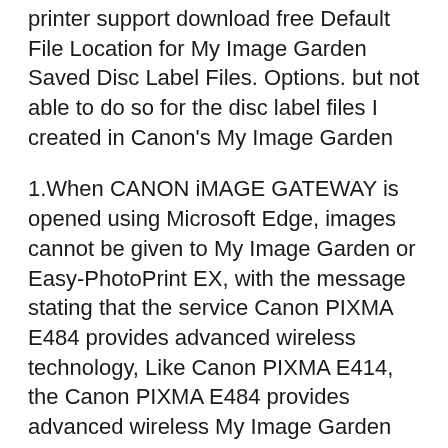printer support download free Default File Location for My Image Garden Saved Disc Label Files. Options. but not able to do so for the disc label files I created in Canon's My Image Garden
1.When CANON iMAGE GATEWAY is opened using Microsoft Edge, images cannot be given to My Image Garden or Easy-PhotoPrint EX, with the message stating that the service Canon PIXMA E484 provides advanced wireless technology, Like Canon PIXMA E414, the Canon PIXMA E484 provides advanced wireless My Image Garden (Windows XP (32
20/06/2016B B· How to scan WITHOUT